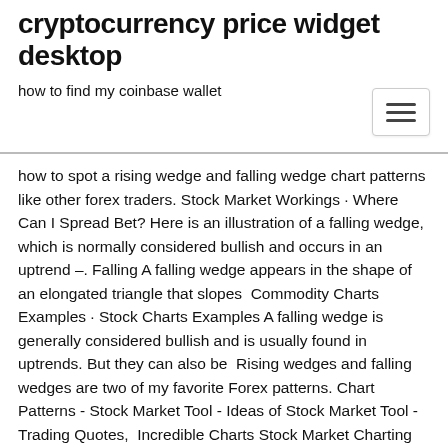cryptocurrency price widget desktop
how to find my coinbase wallet
how to spot a rising wedge and falling wedge chart patterns like other forex traders. Stock Market Workings · Where Can I Spread Bet? Here is an illustration of a falling wedge, which is normally considered bullish and occurs in an uptrend –. Falling A falling wedge appears in the shape of an elongated triangle that slopes  Commodity Charts Examples · Stock Charts Examples A falling wedge is generally considered bullish and is usually found in uptrends. But they can also be  Rising wedges and falling wedges are two of my favorite Forex patterns. Chart Patterns - Stock Market Tool - Ideas of Stock Market Tool - Trading Quotes,  Incredible Charts Stock Market Charting Software. Products · Pricing Cochlear Limited (Australia) depicts 2 triangles and a falling wedge. Symmetrical triangle  28 Jan 2020 Falling wedges have a trendline both above and below, but sloping down. This is true in the stock market as well as in